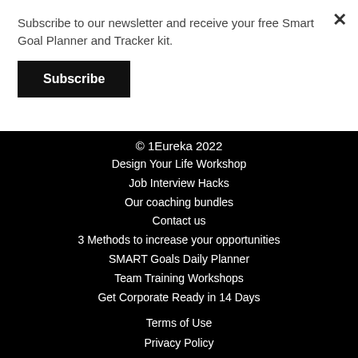Subscribe to our newsletter and receive your free Smart Goal Planner and Tracker kit.
Subscribe
© 1Eureka 2022
Design Your Life Workshop
Job Interview Hacks
Our coaching bundles
Contact us
3 Methods to increase your opportunities
SMART Goals Daily Planner
Team Training Workshops
Get Corporate Ready in 14 Days

Terms of Use
Privacy Policy

Teach Online with
teach:able